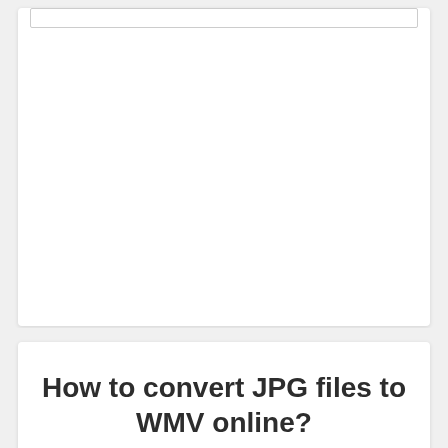[Figure (screenshot): White card with a thin rectangular bordered element near the top, representing a UI input or toolbar area. The card is mostly empty white space.]
How to convert JPG files to WMV online?